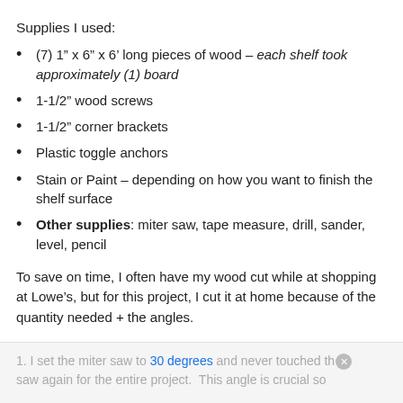Supplies I used:
(7) 1” x 6” x 6’ long pieces of wood – each shelf took approximately (1) board
1-1/2” wood screws
1-1/2” corner brackets
Plastic toggle anchors
Stain or Paint – depending on how you want to finish the shelf surface
Other supplies: miter saw, tape measure, drill, sander, level, pencil
To save on time, I often have my wood cut while at shopping at Lowe’s, but for this project, I cut it at home because of the quantity needed + the angles.
Here are the steps I took:
1. I set the miter saw to 30 degrees and never touched the saw again for the entire project.  This angle is crucial so